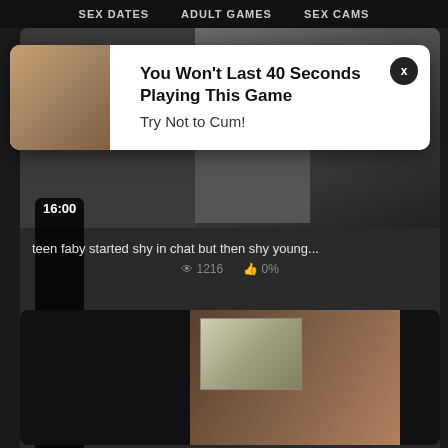SEX DATES   ADULT GAMES   SEX CAMS
[Figure (screenshot): Video thumbnail showing adult content, with timestamp 16:00]
teen faby started shy in chat but then shy young...
1216   0%
[Figure (infographic): Popup advertisement overlay: You Won't Last 40 Seconds Playing This Game / Try Not to Cum!]
[Figure (screenshot): Second video thumbnail showing adult content]